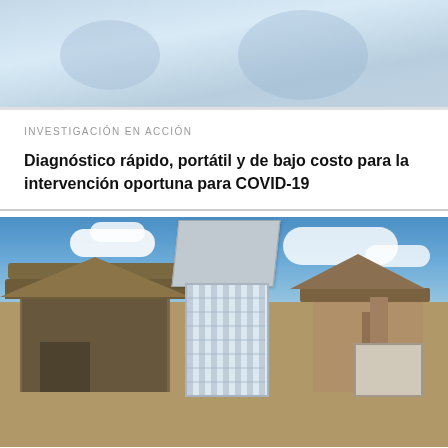[Figure (photo): Header image with light blue background, likely showing medical equipment or microscope imagery]
INVESTIGACIÓN EN ACCIÓN
Diagnóstico rápido, portátil y de bajo costo para la intervención oportuna para COVID-19
[Figure (photo): Outdoor photo showing a rural or semi-urban construction scene with thatched-roof buildings, a metal gate/fence structure, wooden scaffolding, and blue sky with white clouds in the background]